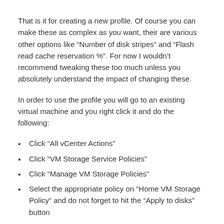That is it for creating a new profile. Of course you can make these as complex as you want, their are various other options like “Number of disk stripes” and “Flash read cache reservation %”. For now I wouldn’t recommend tweaking these too much unless you absolutely understand the impact of changing these.
In order to use the profile you will go to an existing virtual machine and you right click it and do the following:
Click “All vCenter Actions”
Click “VM Storage Service Policies”
Click “Manage VM Storage Policies”
Select the appropriate policy on “Home VM Storage Policy” and do not forget to hit the “Apply to disks” button
Click OK
Now the new policy will be applied to your virtual machine and its disk objects! Also while deploying a new virtual machine you can in the provisioning workflow immediately select the correct policy so that it is deployed in a correct fashion.
These are some of the basics for testing VSAN in a virtual environment… now register and get ready to play!